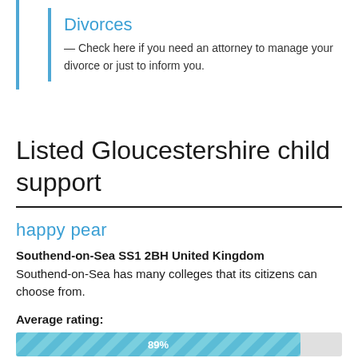Divorces
— Check here if you need an attorney to manage your divorce or just to inform you.
Listed Gloucestershire child support
happy pear
Southend-on-Sea SS1 2BH United Kingdom
Southend-on-Sea has many colleges that its citizens can choose from.
Average rating:
[Figure (bar-chart): Average rating]
Test score. 0 users have voted on this legal advice
Add comments